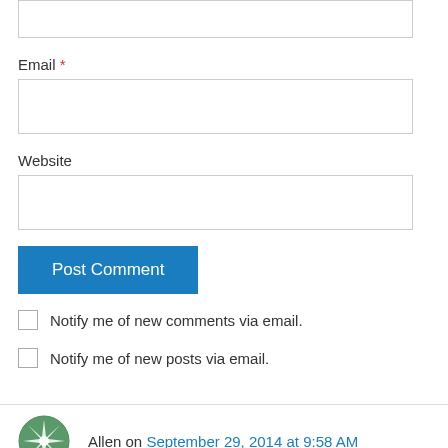Email *
Website
Post Comment
Notify me of new comments via email.
Notify me of new posts via email.
Allen on September 29, 2014 at 9:58 AM